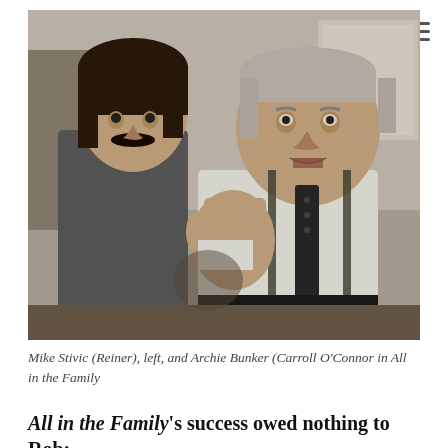[Figure (photo): Black and white photograph of two men from the TV show All in the Family. On the left stands Mike Stivic (Rob Reiner), a younger man with dark hair and a mustache wearing a casual denim-style shirt. On the right is Archie Bunker (Carroll O'Connor), an older heavier-set man in a white dress shirt and dark tie with suspenders, gesturing with his raised hand toward Stivic as if making a point, mouth open as if speaking. The scene is a TV set interior.]
Mike Stivic (Reiner), left, and Archie Bunker (Carroll O’Connor in All in the Family
All in the Family’s success owed nothing to Rob: